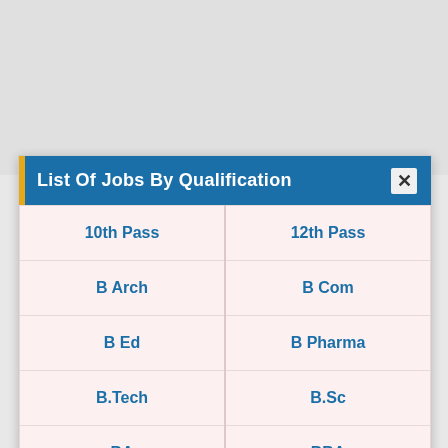List Of Jobs By Qualification
| 10th Pass | 12th Pass |
| B Arch | B Com |
| B Ed | B Pharma |
| B.Tech | B.Sc |
| BA | BBA |
| BCA | BDS |
| BVSc | CA Jobs |